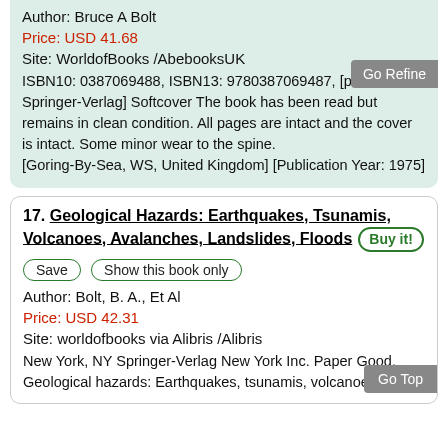Author: Bruce A Bolt
Price: USD 41.68
Site: WorldofBooks /AbebooksUK
ISBN10: 0387069488, ISBN13: 9780387069487, [publisher: Springer-Verlag] Softcover The book has been read but remains in clean condition. All pages are intact and the cover is intact. Some minor wear to the spine. [Goring-By-Sea, WS, United Kingdom] [Publication Year: 1975]
17. Geological Hazards: Earthquakes, Tsunamis, Volcanoes, Avalanches, Landslides, Floods
Author: Bolt, B. A., Et Al
Price: USD 42.31
Site: worldofbooks via Alibris /Alibris
New York, NY Springer-Verlag New York Inc. Paper Good. Geological hazards: Earthquakes, tsunamis, volcanoes,